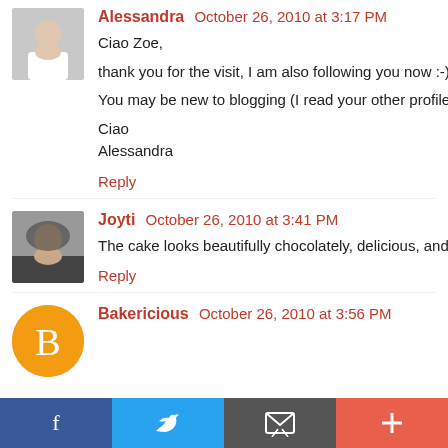Alessandra October 26, 2010 at 3:17 PM
Ciao Zoe,

thank you for the visit, I am also following you now :-)

You may be new to blogging (I read your other profile) b

Ciao
Alessandra
Reply
Joyti October 26, 2010 at 3:41 PM
The cake looks beautifully chocolately, delicious, and pe
Reply
Bakericious October 26, 2010 at 3:56 PM